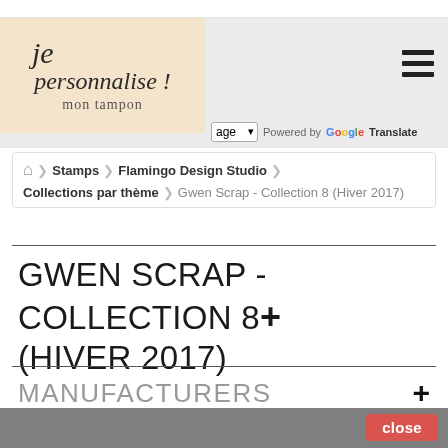[Figure (logo): je personnalise! mon tampon logo in handwritten script on peach background]
age  Powered by Google Translate
🏠 > Stamps > Flamingo Design Studio
Collections par thème > Gwen Scrap - Collection 8 (Hiver 2017)
GWEN SCRAP - COLLECTION 8+ (HIVER 2017)
MANUFACTURERS +